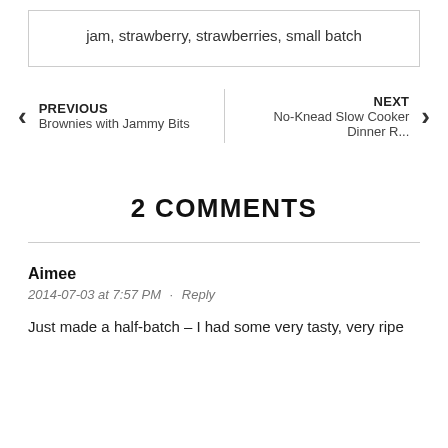jam, strawberry, strawberries, small batch
PREVIOUS
Brownies with Jammy Bits
NEXT
No-Knead Slow Cooker Dinner R...
2 COMMENTS
Aimee
2014-07-03 at 7:57 PM · Reply
Just made a half-batch – I had some very tasty, very ripe